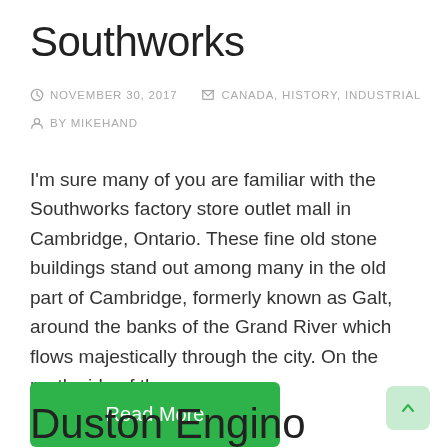Southworks
NOVEMBER 30, 2017   CANADA, HISTORY, INDUSTRIAL   BY MIKEHAND
I'm sure many of you are familiar with the Southworks factory store outlet mall in Cambridge, Ontario. These fine old stone buildings stand out among many in the old part of Cambridge, formerly known as Galt, around the banks of the Grand River which flows majestically through the city. On the north side of the
Read More
Dustan Engina